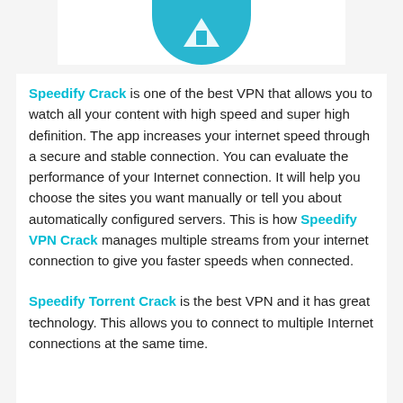[Figure (logo): Partial Speedify app logo — blue circular icon cropped at top of page]
Speedify Crack is one of the best VPN that allows you to watch all your content with high speed and super high definition. The app increases your internet speed through a secure and stable connection. You can evaluate the performance of your Internet connection. It will help you choose the sites you want manually or tell you about automatically configured servers. This is how Speedify VPN Crack manages multiple streams from your internet connection to give you faster speeds when connected.
Speedify Torrent Crack is the best VPN and it has great technology. This allows you to connect to multiple Internet connections at the same time.